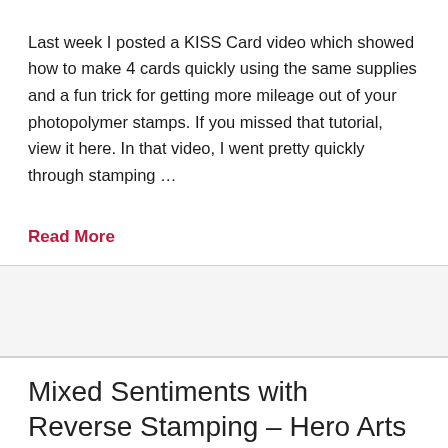Last week I posted a KISS Card video which showed how to make 4 cards quickly using the same supplies and a fun trick for getting more mileage out of your photopolymer stamps.  If you missed that tutorial, view it here. In that video, I went pretty quickly through stamping …
Read More
Mixed Sentiments with Reverse Stamping – Hero Arts
CATHERINE / JUNE 23, 2014 /
DIE CUTTING, GALLERY, PROJECTS, TECHNIQUES, THANK YOU, VIDEOS
I've been playing and experimenting with tons of different